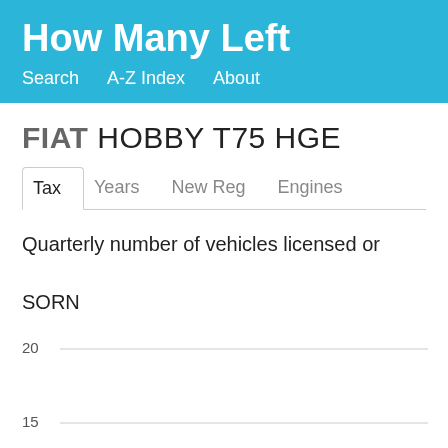How Many Left
Search   A-Z Index   About
FIAT HOBBY T75 HGE
Tax   Years   New Reg   Engines
Quarterly number of vehicles licensed or SORN
[Figure (line-chart): Partial line chart visible, y-axis shows values 20 and 15 with gridlines. Chart area is mostly empty/cut off at bottom of page.]